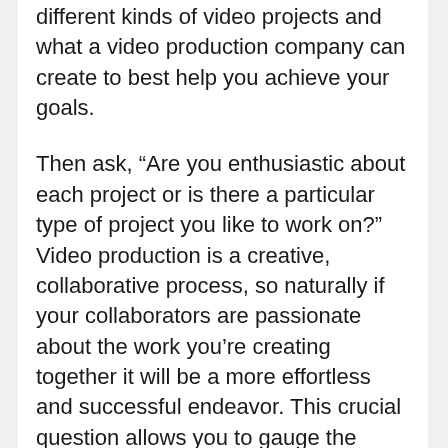different kinds of video projects and what a video production company can create to best help you achieve your goals.
Then ask, “Are you enthusiastic about each project or is there a particular type of project you like to work on?” Video production is a creative, collaborative process, so naturally if your collaborators are passionate about the work you’re creating together it will be a more effortless and successful endeavor. This crucial question allows you to gauge the amount of excitement they have, their level of professionalism, and how much interest they have in your type of video project.
However, although a video company has a